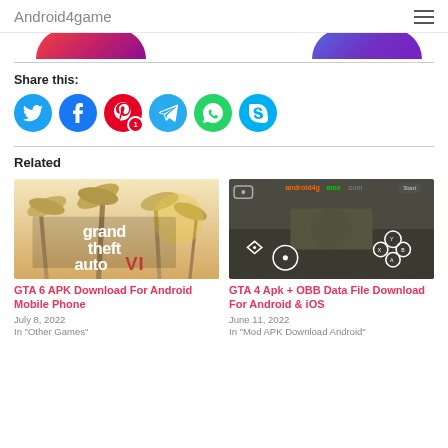Android4game
[Figure (screenshot): Partial rounded top of two social/app icon circles: left one red-to-purple gradient, right one blue-to-purple gradient]
Share this:
[Figure (infographic): Row of social share icon buttons: Twitter (blue), Facebook (blue), Pinterest (red, with badge '1'), Telegram (light blue), WhatsApp (green), Skype (light blue)]
Related
[Figure (photo): GTA 6 game cover art with palm trees and text 'grand theft auto VI']
GTA 6 APK Download For Android Mobile Phone
July 8, 2022
In "Other Games"
[Figure (screenshot): GTA 4 gameplay screenshot showing mobile touch controls overlay with android4game.com watermark]
GTA 4 Apk + OBB Data File Download For Android & iOS
June 11, 2022
In "Mod APK Download Android"